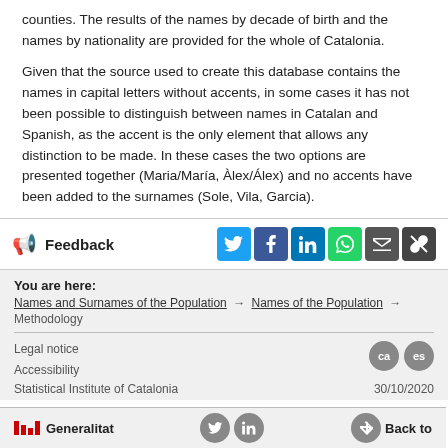counties. The results of the names by decade of birth and the names by nationality are provided for the whole of Catalonia.
Given that the source used to create this database contains the names in capital letters without accents, in some cases it has not been possible to distinguish between names in Catalan and Spanish, as the accent is the only element that allows any distinction to be made. In these cases the two options are presented together (Maria/María, Àlex/Álex) and no accents have been added to the surnames (Sole, Vila, Garcia).
Feedback
You are here:
Names and Surnames of the Population → Names of the Population → Methodology
Legal notice
Accessibility
Statistical Institute of Catalonia        30/10/2020
Generalitat        Back to